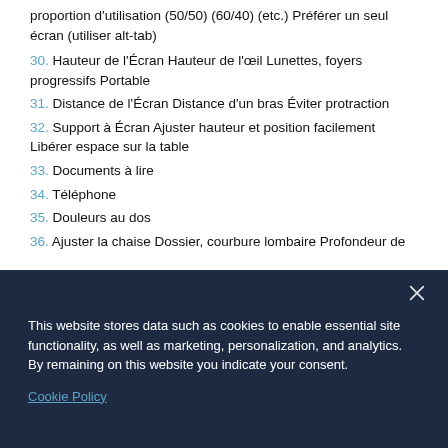proportion d'utilisation (50/50) (60/40) (etc.) Préférer un seul écran (utiliser alt-tab)
30. Hauteur de l'Écran Hauteur de l'œil Lunettes, foyers progressifs Portable
31. Distance de l'Écran Distance d'un bras Éviter protraction
32. Support à Écran Ajuster hauteur et position facilement Libérer espace sur la table
33. Documents à lire
34. Téléphone
35. Douleurs au dos
36. Ajuster la chaise Dossier, courbure lombaire Profondeur de
This website stores data such as cookies to enable essential site functionality, as well as marketing, personalization, and analytics. By remaining on this website you indicate your consent.
Cookie Policy
profondeur et inclinaison; Dossier ajustable (hauteur et inclinaison)...